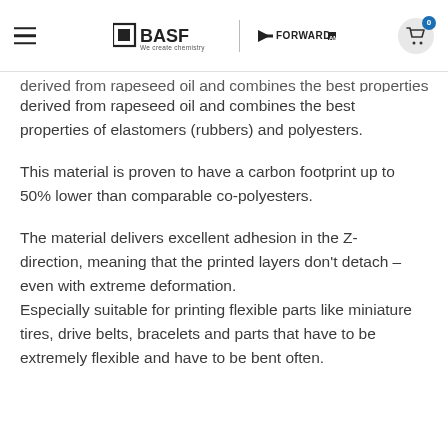BASF | FORWARD AM — We create chemistry
derived from rapeseed oil and combines the best properties of elastomers (rubbers) and polyesters.
This material is proven to have a carbon footprint up to 50% lower than comparable co-polyesters.
The material delivers excellent adhesion in the Z-direction, meaning that the printed layers don't detach – even with extreme deformation. Especially suitable for printing flexible parts like miniature tires, drive belts, bracelets and parts that have to be extremely flexible and have to be bent often.